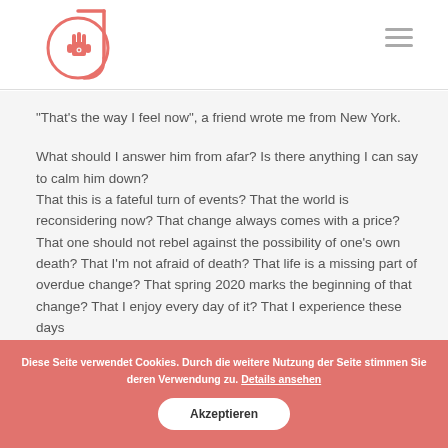[Figure (logo): Circular logo with a hamsa hand symbol inside, with a stylized 'J' bracket around the right side, in salmon/coral pink color]
“That’s the way I feel now”, a friend wrote me from New York.

What should I answer him from afar? Is there anything I can say to calm him down?
That this is a fateful turn of events? That the world is reconsidering now? That change always comes with a price? That one should not rebel against the possibility of one’s own death? That I’m not afraid of death? That life is a missing part of overdue change? That spring 2020 marks the beginning of that change? That I enjoy every day of it? That I experience these days
Diese Seite verwendet Cookies. Durch die weitere Nutzung der Seite stimmen Sie deren Verwendung zu. Details ansehen
Akzeptieren